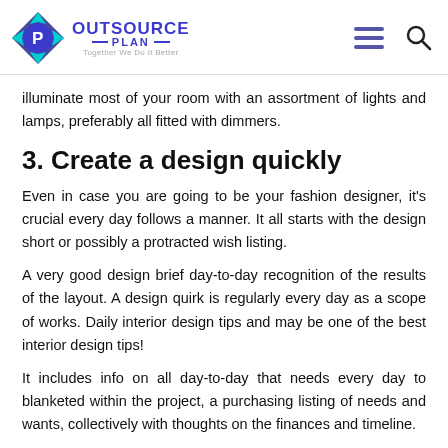OUTSOURCE PLAN — Together We Do It Better
illuminate most of your room with an assortment of lights and lamps, preferably all fitted with dimmers.
3. Create a design quickly
Even in case you are going to be your fashion designer, it's crucial every day follows a manner. It all starts with the design short or possibly a protracted wish listing.
A very good design brief day-to-day recognition of the results of the layout. A design quirk is regularly every day as a scope of works. Daily interior design tips and may be one of the best interior design tips!
It includes info on all day-to-day that needs every day to blanketed within the project, a purchasing listing of needs and wants, collectively with thoughts on the finances and timeline.